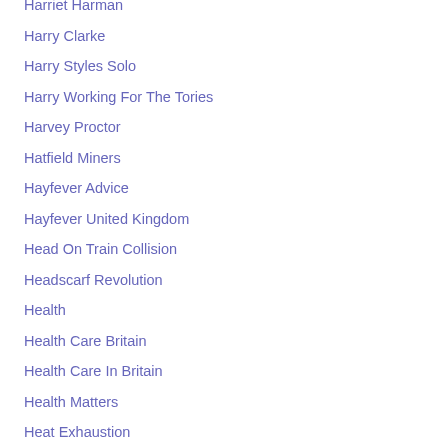Harriet Harman
Harry Clarke
Harry Styles Solo
Harry Working For The Tories
Harvey Proctor
Hatfield Miners
Hayfever Advice
Hayfever United Kingdom
Head On Train Collision
Headscarf Revolution
Health
Health Care Britain
Health Care In Britain
Health Matters
Heat Exhaustion
Heathrow Expansion
Heathrow Third Runway
Heatwave